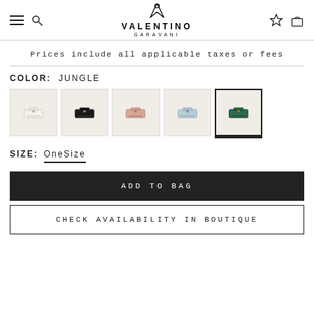Valentino Garavani — navigation header with hamburger menu, search, logo, wishlist, and bag icons
Prices include all applicable taxes or fees
COLOR:  JUNGLE
[Figure (photo): Five color swatches of Valentino bags: white, black, nude/pink, light blue, and green (jungle, selected)]
SIZE:  OneSize
ADD TO BAG
CHECK AVAILABILITY IN BOUTIQUE